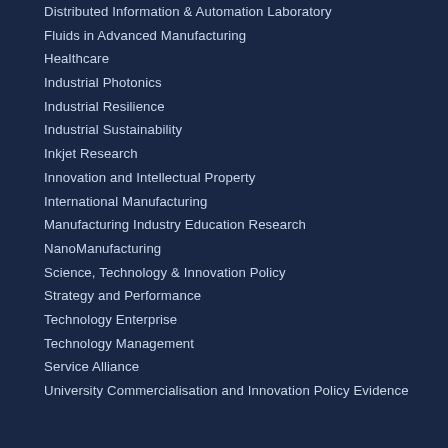Distributed Information & Automation Laboratory
Fluids in Advanced Manufacturing
Healthcare
Industrial Photonics
Industrial Resilience
Industrial Sustainability
Inkjet Research
Innovation and Intellectual Property
International Manufacturing
Manufacturing Industry Education Research
NanoManufacturing
Science, Technology & Innovation Policy
Strategy and Performance
Technology Enterprise
Technology Management
Service Alliance
University Commercialisation and Innovation Policy Evidence